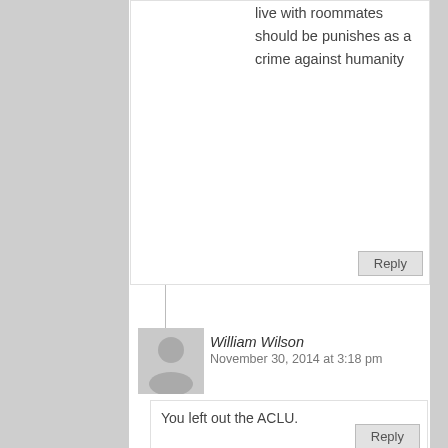live with roommates should be punishes as a crime against humanity
Reply
William Wilson
November 30, 2014 at 3:18 pm
You left out the ACLU.
Reply
ward
November 30, 2014 at 3:38 pm
All are guilty of treason & violations of U.S. Constitutional Laws … ! Hang “em” high…!
Reply